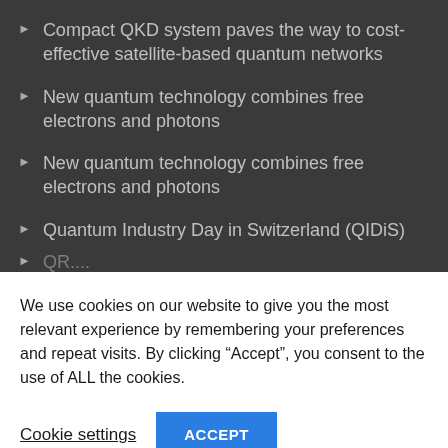Compact QKD system paves the way to cost-effective satellite-based quantum networks
New quantum technology combines free electrons and photons
New quantum technology combines free electrons and photons
Quantum Industry Day in Switzerland (QIDiS)
We use cookies on our website to give you the most relevant experience by remembering your preferences and repeat visits. By clicking “Accept”, you consent to the use of ALL the cookies.
Cookie settings
ACCEPT